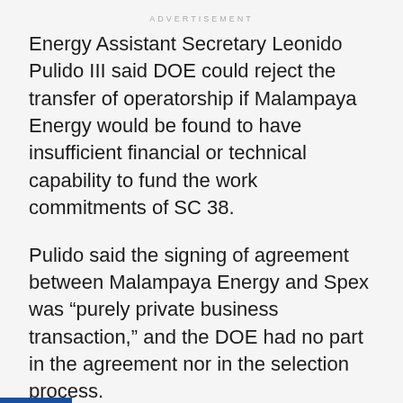ADVERTISEMENT
Energy Assistant Secretary Leonido Pulido III said DOE could reject the transfer of operatorship if Malampaya Energy would be found to have insufficient financial or technical capability to fund the work commitments of SC 38.
Pulido said the signing of agreement between Malampaya Energy and Spex was “purely private business transaction,” and the DOE had no part in the agreement nor in the selection process.
He said the sales agreement needed the approval of the SC 38 Consortium members prior to submission to the DOE for the processing of approval of transfer of participating interest and operatorship.